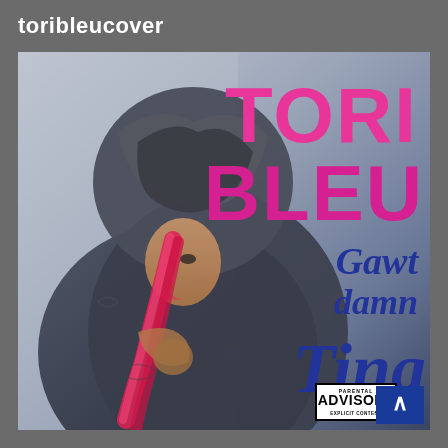toribleucover
[Figure (illustration): Album cover for Tori Bleu 'Gawt Damn Ting'. A young woman with long red/pink hair wearing a large dark fur-trimmed hooded coat, shown in profile/three-quarter view. Large hot pink block letters spell TORI BLEU on the right side, with dark blue script text reading 'Gawt damn Ting' below. Parental Advisory Explicit Content label in bottom right area. A blue scroll-up button in the bottom far right corner.]